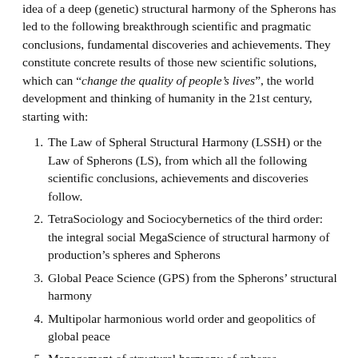idea of a deep (genetic) structural harmony of the Spherons has led to the following breakthrough scientific and pragmatic conclusions, fundamental discoveries and achievements. They constitute concrete results of those new scientific solutions, which can “change the quality of people’s lives”, the world development and thinking of humanity in the 21st century, starting with:
The Law of Spheral Structural Harmony (LSSH) or the Law of Spherons (LS), from which all the following scientific conclusions, achievements and discoveries follow.
TetraSociology and Sociocybernetics of the third order: the integral social MegaScience of structural harmony of production’s spheres and Spherons
Global Peace Science (GPS) from the Spherons’ structural harmony
Multipolar harmonious world order and geopolitics of global peace
Management of structural harmony of spheres –